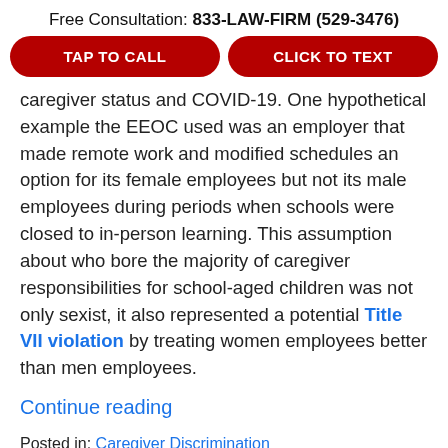Free Consultation: 833-LAW-FIRM (529-3476)
TAP TO CALL
CLICK TO TEXT
caregiver status and COVID-19. One hypothetical example the EEOC used was an employer that made remote work and modified schedules an option for its female employees but not its male employees during periods when schools were closed to in-person learning. This assumption about who bore the majority of caregiver responsibilities for school-aged children was not only sexist, it also represented a potential Title VII violation by treating women employees better than men employees.
Continue reading
Posted in: Caregiver Discrimination